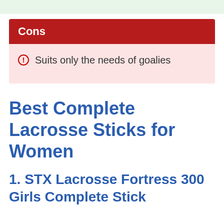Suits only the needs of goalies
Best Complete Lacrosse Sticks for Women
1. STX Lacrosse Fortress 300 Girls Complete Stick